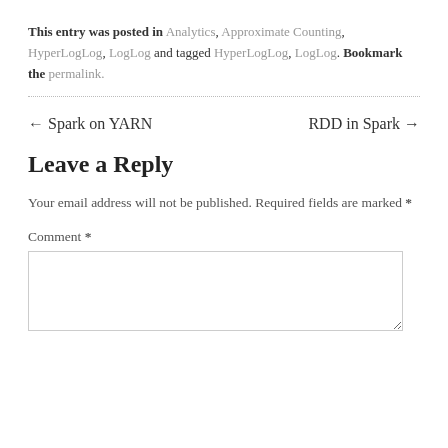This entry was posted in Analytics, Approximate Counting, HyperLogLog, LogLog and tagged HyperLogLog, LogLog. Bookmark the permalink.
← Spark on YARN    RDD in Spark →
Leave a Reply
Your email address will not be published. Required fields are marked *
Comment *